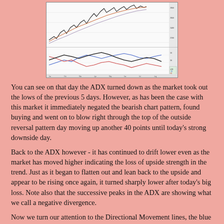[Figure (continuous-plot): A financial chart showing price action (candlestick/line chart) in the upper panel and ADX/Directional Movement indicator lines (blue +DI, red -DI, and ADX line) in the lower panel. The price shows an upward trend. The lower panel shows oscillating lines indicating ADX turning lower.]
You can see on that day the ADX turned down as the market took out the lows of the previous 5 days. However, as has been the case with this market it immediately negated the bearish chart pattern, found buying and went on to blow right through the top of the outside reversal pattern day moving up another 40 points until today's strong downside day.
Back to the ADX however - it has continued to drift lower even as the market has moved higher indicating the loss of upside strength in the trend. Just as it began to flatten out and lean back to the upside and appear to be rising once again, it turned sharply lower after today's big loss. Note also that the successive peaks in the ADX are showing what we call a negative divergence.
Now we turn our attention to the Directional Movement lines, the blue line, +DI or positive directional movement, and the red line -